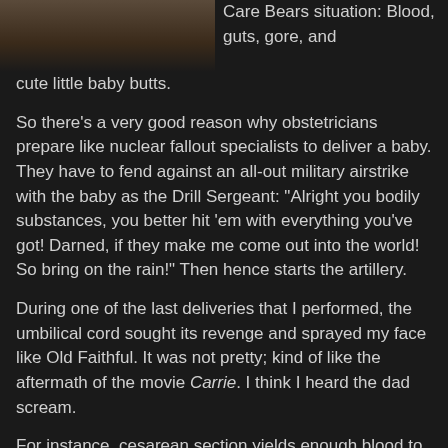[Figure (photo): Close-up photo of a baby's face/head at the top left of the page]
Care Bears situation: Blood, guts, gore, and cute little baby butts.
So there's a very good reason why obstetricians prepare like nuclear fallout specialists to deliver a baby. They have to fend against an all-out military airstrike with the baby as the Drill Sergeant: "Alright you bodily substances, you better hit 'em with everything you've got! Darned, if they make me come out into the world! So bring on the rain!" Then hence starts the artillery.
During one of the last deliveries that I performed, the umbilical cord sought its revenge and sprayed my face like Old Faithful. It was not pretty; kind of like the aftermath of the movie Carrie. I think I heard the dad scream.
For instance, cesarean section yields enough blood to make a general surgeon cry, "oh mommy!", but then the OB doc pulls out a tiny baby buttocks out of the gaping abdominal wound and everyone in the room goes, "Ahhhhhh! Isn't that